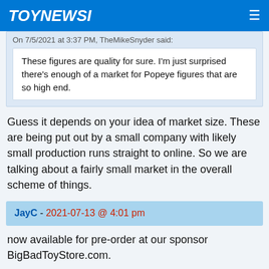TOYNEWSI
On 7/5/2021 at 3:37 PM, TheMikeSnyder said:
These figures are quality for sure. I'm just surprised there's enough of a market for Popeye figures that are so high end.
Guess it depends on your idea of market size. These are being put out by a small company with likely small production runs straight to online. So we are talking about a fairly small market in the overall scheme of things.
JayC - 2021-07-13 @ 4:01 pm
now available for pre-order at our sponsor BigBadToyStore.com.